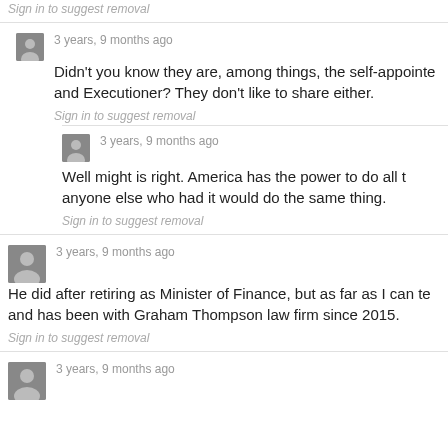Sign in to suggest removal
3 years, 9 months ago
Didn't you know they are, among things, the self-appointe and Executioner? They don't like to share either.
Sign in to suggest removal
3 years, 9 months ago
Well might is right. America has the power to do all t anyone else who had it would do the same thing.
Sign in to suggest removal
3 years, 9 months ago
He did after retiring as Minister of Finance, but as far as I can te and has been with Graham Thompson law firm since 2015.
Sign in to suggest removal
3 years, 9 months ago